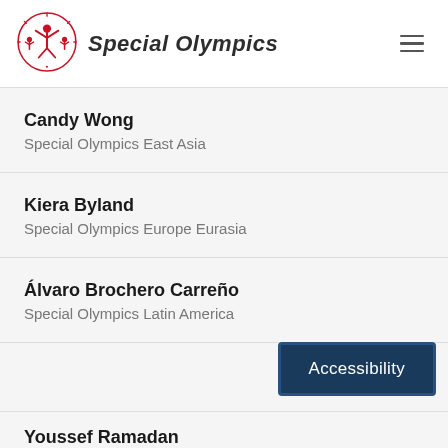[Figure (logo): Special Olympics logo: red circular emblem with stylized figures and rays, with bold italic 'Special Olympics' text]
Candy Wong
Special Olympics East Asia
Kiera Byland
Special Olympics Europe Eurasia
Álvaro Brochero Carreño
Special Olympics Latin America
Youssef Ramadan